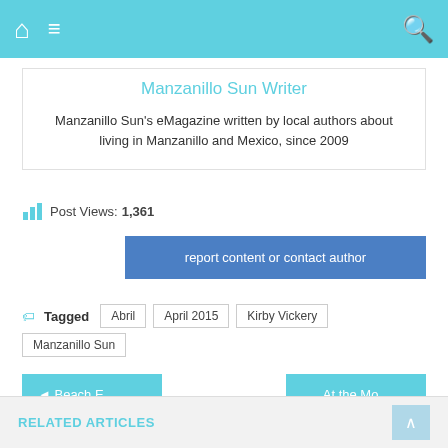[Figure (screenshot): Mobile navigation bar with home icon, hamburger menu, and search icon on teal background]
Manzanillo Sun Writer
Manzanillo Sun's eMagazine written by local authors about living in Manzanillo and Mexico, since 2009
Post Views: 1,361
report content or contact author
Tagged  Abril  April 2015  Kirby Vickery  Manzanillo Sun
◄ Beach E...
At the Mo...
RELATED ARTICLES